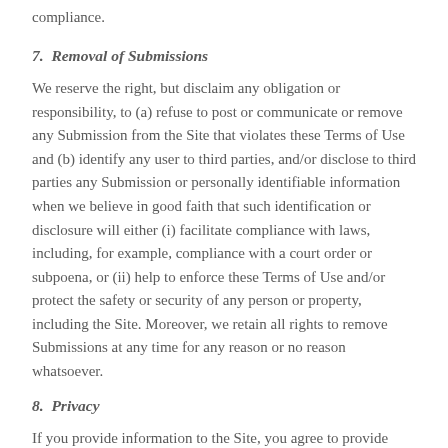compliance.
7. Removal of Submissions
We reserve the right, but disclaim any obligation or responsibility, to (a) refuse to post or communicate or remove any Submission from the Site that violates these Terms of Use and (b) identify any user to third parties, and/or disclose to third parties any Submission or personally identifiable information when we believe in good faith that such identification or disclosure will either (i) facilitate compliance with laws, including, for example, compliance with a court order or subpoena, or (ii) help to enforce these Terms of Use and/or protect the safety or security of any person or property, including the Site. Moreover, we retain all rights to remove Submissions at any time for any reason or no reason whatsoever.
8. Privacy
If you provide information to the Site, you agree to provide accurate, current and complete information about you when